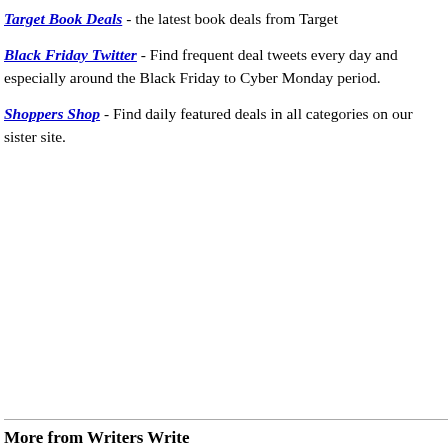Target Book Deals - the latest book deals from Target
Black Friday Twitter - Find frequent deal tweets every day and especially around the Black Friday to Cyber Monday period.
Shoppers Shop - Find daily featured deals in all categories on our sister site.
More from Writers Write